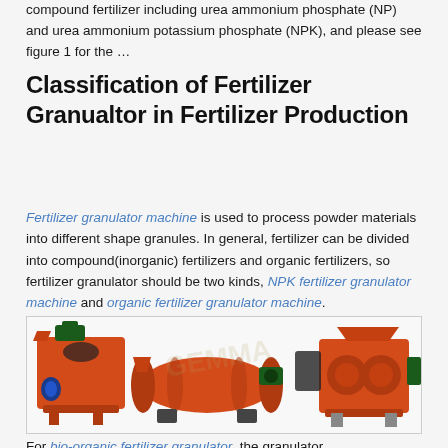compound fertilizer including urea ammonium phosphate (NP) and urea ammonium potassium phosphate (NPK), and please see figure 1 for the …
Classification of Fertilizer Granualtor in Fertilizer Production
Fertilizer granulator machine is used to process powder materials into different shape granules. In general, fertilizer can be divided into compound(inorganic) fertilizers and organic fertilizers, so fertilizer granulator should be two kinds, NPK fertilizer granulator machine and organic fertilizer granulator machine.
[Figure (photo): Three orange industrial fertilizer granulator machines shown side by side: a disc granulator on the left, a rotary drum granulator in the center, and a double roller extrusion granulator on the right.]
For bio-organic fertilizer granulator, the granulator